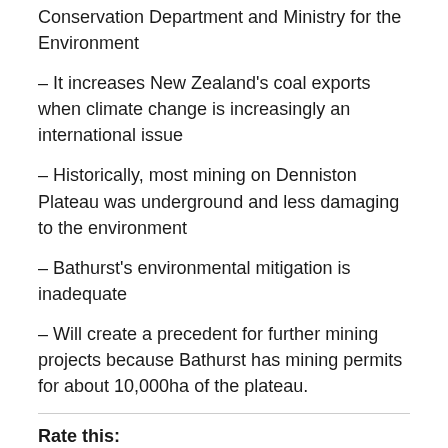Conservation Department and Ministry for the Environment
– It increases New Zealand's coal exports when climate change is increasingly an international issue
– Historically, most mining on Denniston Plateau was underground and less damaging to the environment
– Bathurst's environmental mitigation is inadequate
– Will create a precedent for further mining projects because Bathurst has mining permits for about 10,000ha of the plateau.
Rate this:
Rate This